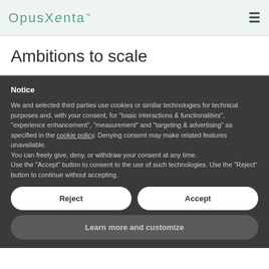OpusXenta
Ambitions to scale
Notice
We and selected third parties use cookies or similar technologies for technical purposes and, with your consent, for “basic interactions & functionalities”, “experience enhancement”, “measurement” and “targeting & advertising” as specified in the cookie policy. Denying consent may make related features unavailable.
You can freely give, deny, or withdraw your consent at any time.
Use the “Accept” button to consent to the use of such technologies. Use the “Reject” button to continue without accepting.
Reject
Accept
Learn more and customize